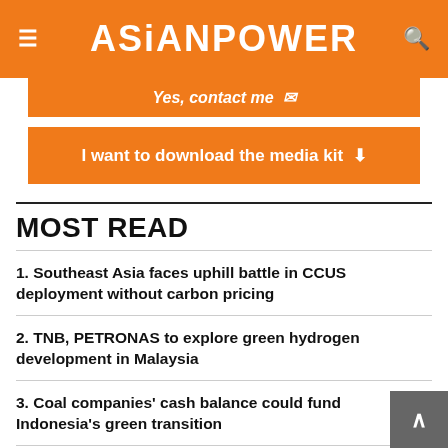ASiANPOWER
Yes, contact me
I want to download the media kit
MOST READ
1. Southeast Asia faces uphill battle in CCUS deployment without carbon pricing
2. TNB, PETRONAS to explore green hydrogen development in Malaysia
3. Coal companies' cash balance could fund Indonesia's green transition
4. TR Renewable, SIDBI partner to set up 1,000 green energy